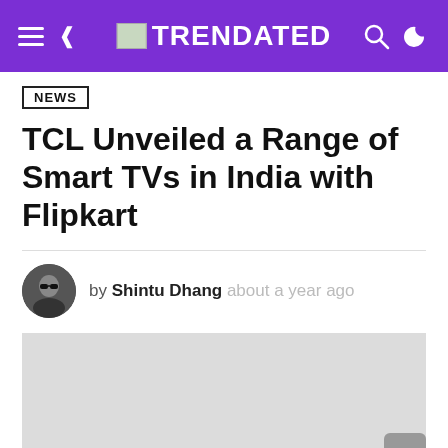TRENDATED
NEWS
TCL Unveiled a Range of Smart TVs in India with Flipkart
by Shintu Dhang about a year ago
[Figure (photo): Article featured image placeholder (light gray rectangle)]